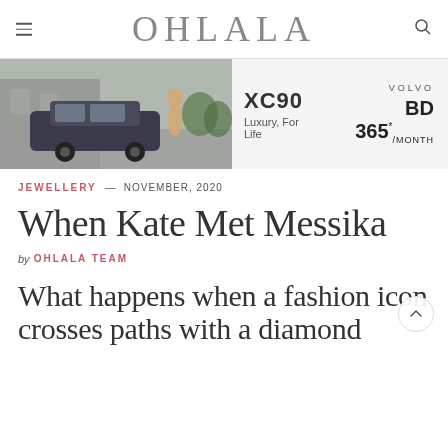OHLALA
[Figure (photo): Volvo XC90 advertisement banner showing a dark SUV parked in a driveway with a person standing beside it, surrounded by greenery. Text: XC90, Luxury, For Life, VOLVO, BD 365/MONTH]
JEWELLERY — NOVEMBER, 2020
When Kate Met Messika
by OHLALA TEAM
What happens when a fashion icon crosses paths with a diamond